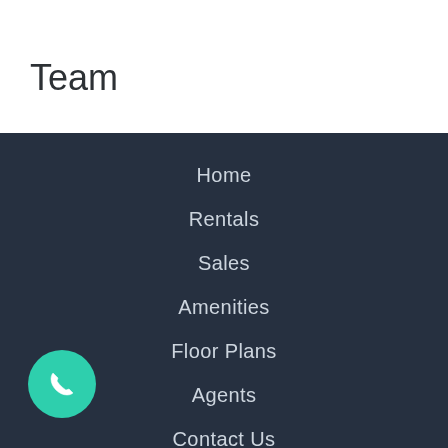Team
Home
Rentals
Sales
Amenities
Floor Plans
Agents
Contact Us
[Figure (illustration): Teal circular phone call button icon in bottom left corner]